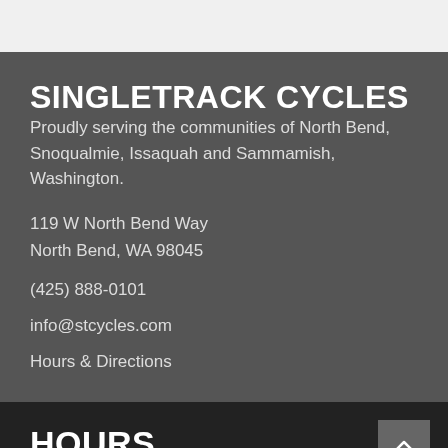SINGLETRACK CYCLES
Proudly serving the communities of North Bend, Snoqualmie, Issaquah and Sammamish, Washington.
119 W North Bend Way
North Bend, WA 98045
(425) 888-0101
info@stcycles.com
Hours & Directions
HOURS
Mon: 11-5